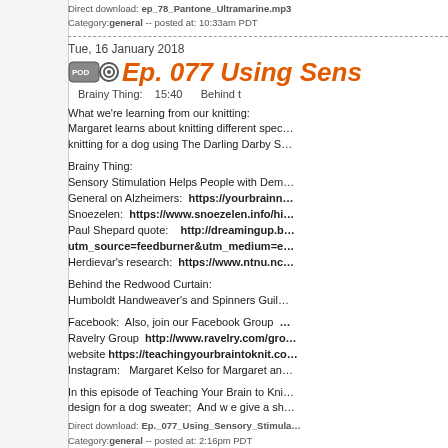Direct download: ep_78_Pantone_Ultramarine.mp3
Category: general -- posted at: 10:33am PDT
Tue, 16 January 2018
Ep. 077 Using Sens...
Brainy Thing:   15:40    Behind t...
What we're learning from our knitting:
Margaret learns about knitting different spec...
knitting for a dog using The Darling Darby S...
Brainy Thing:
Sensory Stimulation Helps People with Dem...
General on Alzheimers:  https://yourbrainn...
Snoezelen:  https://www.snoezelen.info/hi...
Paul Shepard quote:   http://dreamingup.b... utm_source=feedburner&utm_medium=e...
Herdievar's research:  https://www.ntnu.nc...
Behind the Redwood Curtain:
Humboldt Handweaver's and Spinners Guil...
Facebook:  Also, join our Facebook Group ...
Ravelry Group  http://www.ravelry.com/gro...
website https://teachingyourbraintoknit.co...
Instagram:  Margaret Kelso for Margaret an...
In this episode of Teaching Your Brain to Kni...
design for a dog sweater;  And w e give a sh...
Direct download: Ep._077_Using_Sensory_Stimula...
Category: general -- posted at: 2:16pm PDT
Tue, 2 January 2018
Ep. 076 Lucid Dream...